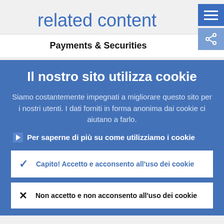related content
Payments & Securities
Il nostro sito utilizza cookie
Siamo costantemente impegnati a migliorare questo sito per i nostri utenti. I dati forniti in forma anonima dai cookie ci aiutano a farlo.
Per saperne di più su come utilizziamo i cookie
Capito! Accetto e acconsento all'uso dei cookie
Non accetto e non acconsento all'uso dei cookie